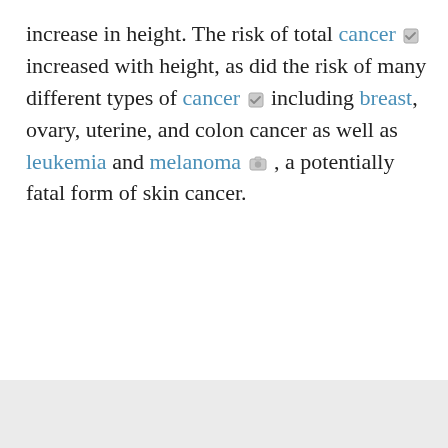increase in height. The risk of total cancer [icon] increased with height, as did the risk of many different types of cancer [icon] including breast, ovary, uterine, and colon cancer as well as leukemia and melanoma [icon], a potentially fatal form of skin cancer.